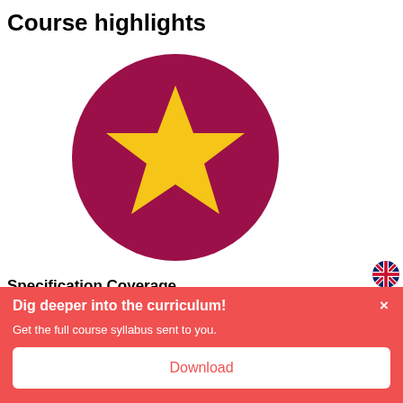Course highlights
[Figure (illustration): A dark magenta/crimson circle containing a large yellow five-pointed star in the center.]
[Figure (illustration): A small circular UK flag (Union Jack) icon in the top-right corner.]
Specification Coverage
The six sessions will cover the key topics in the specification and take you through some neat tips for remembering content and
[Figure (infographic): A red overlay banner at the bottom of the page with title 'Dig deeper into the curriculum!', subtitle 'Get the full course syllabus sent to you.', a close X button, and a white Download button with red text.]